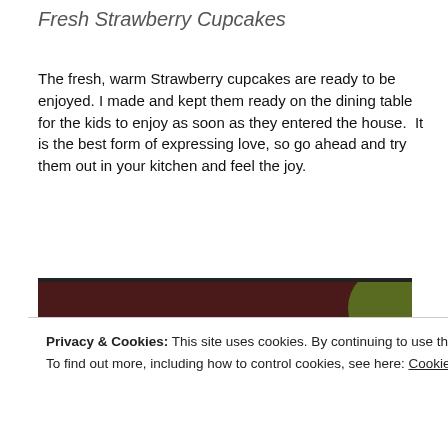Fresh Strawberry Cupcakes
The fresh, warm Strawberry cupcakes are ready to be enjoyed. I made and kept them ready on the dining table for the kids to enjoy as soon as they entered the house. It is the best form of expressing love, so go ahead and try them out in your kitchen and feel the joy.
[Figure (photo): Photo of fresh strawberry cupcakes topped with strawberry jam filling on a white plate, with a yellow cloth and dark background visible.]
Privacy & Cookies: This site uses cookies. By continuing to use this website, you agree to their use.
To find out more, including how to control cookies, see here: Cookie Policy
Close and accept